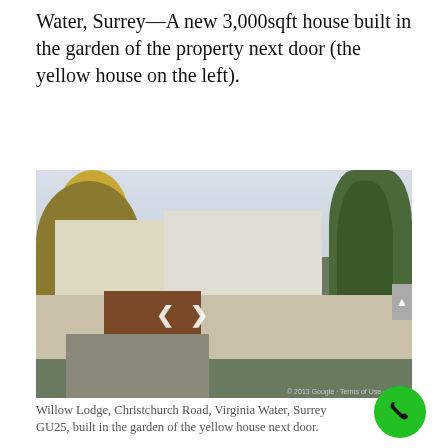Water, Surrey—A new 3,000sqft house built in the garden of the property next door (the yellow house on the left).
[Figure (photo): Google Street View photo of Willow Lodge, Christchurch Road, Virginia Water, Surrey GU25. Shows a modern house with dark grey roof built behind a cream/beige wall with large wooden gates. Yellow house visible to the left. Large trees on right. Navigation arrows visible in center of image.]
Willow Lodge, Christchurch Road, Virginia Water, Surrey GU25, built in the garden of the yellow house next door.